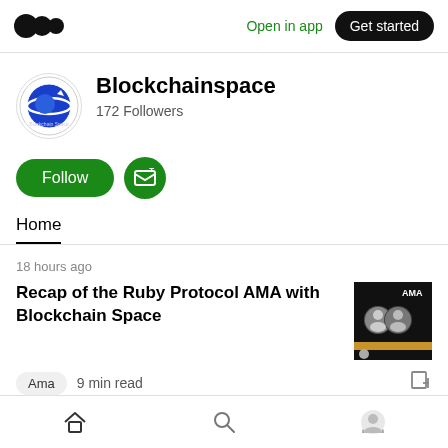Open in app  Get started
[Figure (logo): Blockchainspace circular logo with planet/rocket icon in blue and white]
Blockchainspace
172 Followers
Follow  (subscribe icon)
Home
18 hours ago
Recap of the Ruby Protocol AMA with Blockchain Space
[Figure (photo): Thumbnail image of AMA session with two profile photos on dark background]
Ama  9 min read
Home  Search  Profile